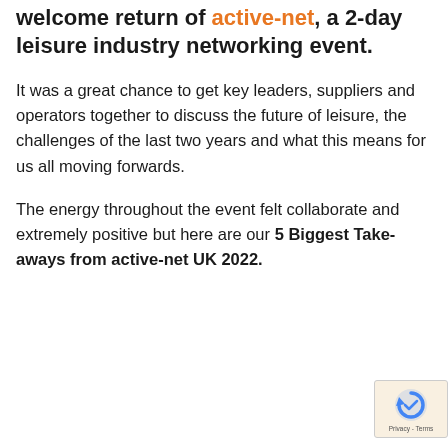welcome return of active-net, a 2-day leisure industry networking event.
It was a great chance to get key leaders, suppliers and operators together to discuss the future of leisure, the challenges of the last two years and what this means for us all moving forwards.
The energy throughout the event felt collaborate and extremely positive but here are our 5 Biggest Take-aways from active-net UK 2022.
[Figure (other): reCAPTCHA privacy badge in bottom-right corner showing reCAPTCHA logo with Privacy - Terms text]